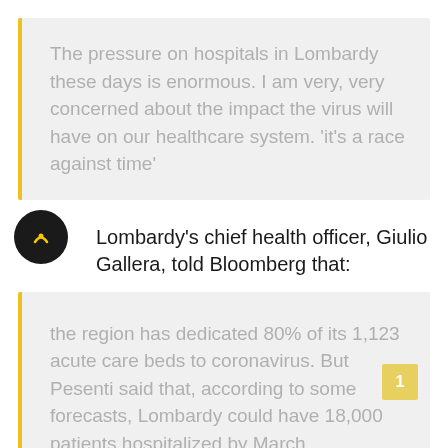The pressure on hospitals in Lombardy these days is enormous. I am very, very concerned about the impact the virus will have on our healthcare system. 'it's a race against time'
Lombardy's chief health officer, Giulio Gallera, told Bloomberg that:
the region has dedicated 80% of its 1,123 acute care beds to coronavirus. But Pesenti said that, according to some forecasts, Lombardy could have 18,000 patients hospitalized by March